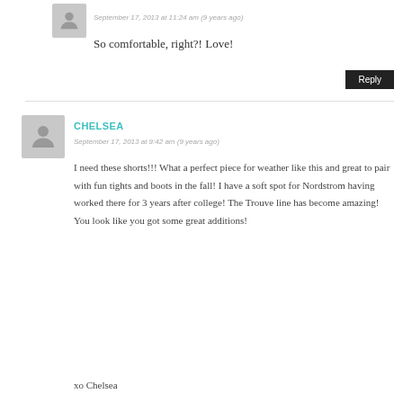[Figure (illustration): Small gray avatar icon of a person, top comment]
September 17, 2013 at 11:24 am (9 years ago)
So comfortable, right?! Love!
Reply
[Figure (illustration): Larger gray avatar icon of a person, Chelsea comment]
CHELSEA
September 17, 2013 at 9:42 am (9 years ago)
I need these shorts!!! What a perfect piece for weather like this and great to pair with fun tights and boots in the fall! I have a soft spot for Nordstrom having worked there for 3 years after college! The Trouve line has become amazing! You look like you got some great additions!
xo Chelsea